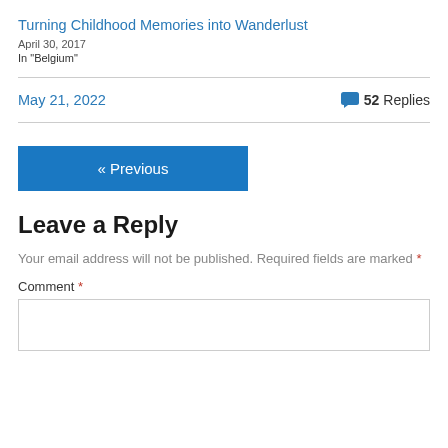Turning Childhood Memories into Wanderlust
April 30, 2017
In "Belgium"
May 21, 2022
💬 52 Replies
« Previous
Leave a Reply
Your email address will not be published. Required fields are marked *
Comment *